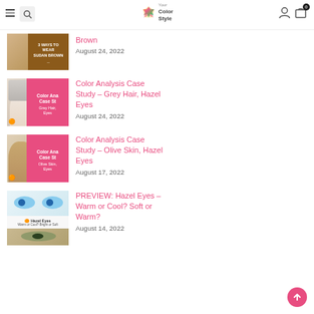Your Color Style — navigation bar with menu, search, logo, account, cart
[Figure (photo): Thumbnail for Sudan Brown article showing tan clothing and brown color swatch overlay]
Brown
August 24, 2022
[Figure (photo): Thumbnail for Color Analysis Case Study – Grey Hair, Hazel Eyes with pink overlay text]
Color Analysis Case Study – Grey Hair, Hazel Eyes
August 24, 2022
[Figure (photo): Thumbnail for Color Analysis Case Study – Olive Skin, Hazel Eyes with pink overlay text]
Color Analysis Case Study – Olive Skin, Hazel Eyes
August 17, 2022
[Figure (photo): Thumbnail for Hazel Eyes article showing close-up eye photos and hazel eyes label]
PREVIEW: Hazel Eyes – Warm or Cool? Soft or Warm?
August 14, 2022